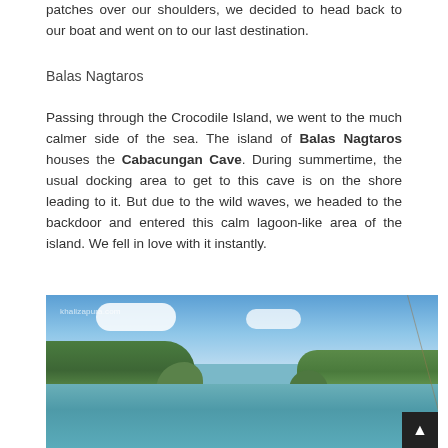patches over our shoulders, we decided to head back to our boat and went on to our last destination.
Balas Nagtaros
Passing through the Crocodile Island, we went to the much calmer side of the sea. The island of Balas Nagtaros houses the Cabacungan Cave. During summertime, the usual docking area to get to this cave is on the shore leading to it. But due to the wild waves, we headed to the backdoor and entered this calm lagoon-like area of the island. We fell in love with it instantly.
[Figure (photo): A calm lagoon-like waterway between two tree-covered islands under a partly cloudy blue sky, viewed from a boat. Watermark reads 'khalizapura.com'.]